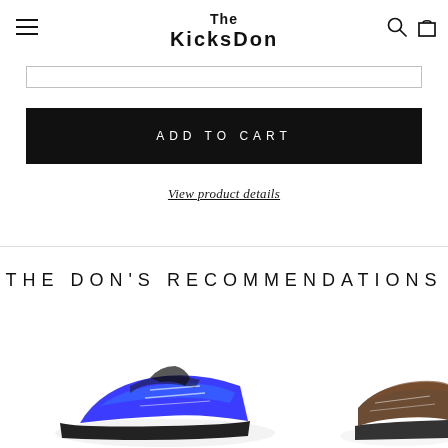The KicksDon
[Figure (other): Input bar / form field]
ADD TO CART
View product details
THE DON'S RECOMMENDATIONS
[Figure (photo): Sneaker/shoe product images at the bottom of the page]